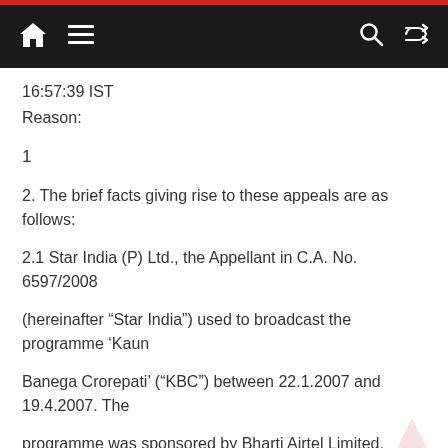Navigation bar with home, menu, search, and shuffle icons
16:57:39 IST
Reason:
1
2. The brief facts giving rise to these appeals are as follows:
2.1 Star India (P) Ltd., the Appellant in C.A. No. 6597/2008
(hereinafter “Star India”) used to broadcast the programme ‘Kaun
Banega Crorepati’ (“KBC”) between 22.1.2007 and 19.4.2007. The
programme was sponsored by Bharti Airtel Limited,